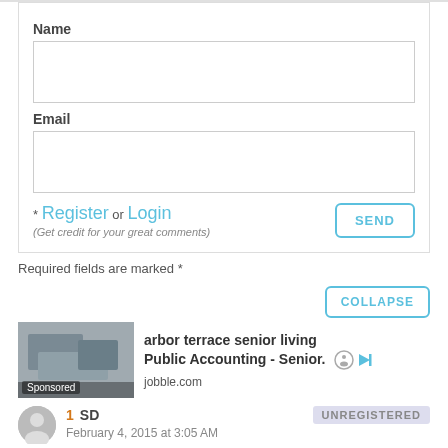Name
Email
* Register or Login
(Get credit for your great comments)
SEND
Required fields are marked *
COLLAPSE
[Figure (other): Sponsored ad image showing person working at laptop/calculator]
arbor terrace senior living
Public Accounting - Senior.
jobble.com
1  SD
February 4, 2015 at 3:05 AM
UNREGISTERED